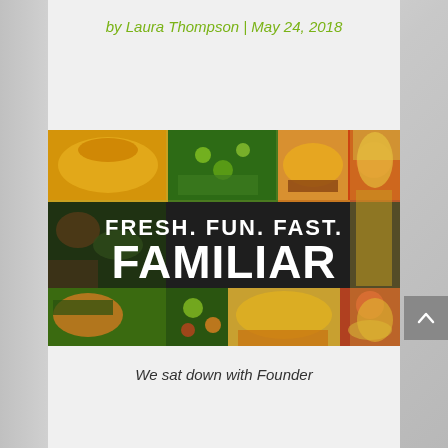by Laura Thompson | May 24, 2018
[Figure (photo): Food collage banner with multiple images of tacos, burgers, pasta, pizza, broccoli, and other dishes. Overlaid text reads 'FRESH. FUN. FAST.' on top line and 'FAMILIAR' in large bold letters below.]
We sat down with Founder